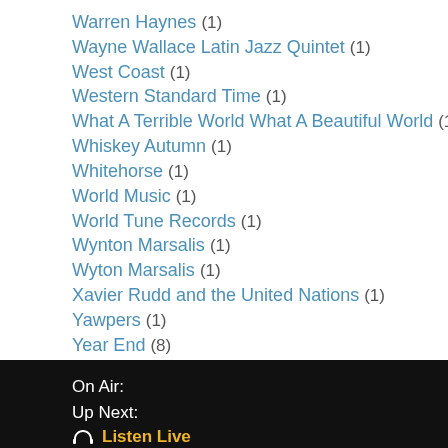Warren Haynes (1)
Wayne Wallace Latin Jazz Quintet (1)
West Coast (1)
Western Standard Time (1)
What A Terrible World What A Beautiful World (1)
Whiskey Autumn (1)
Whitehorse (1)
World Music (1)
World Tune Records (1)
Wynton Marsalis (1)
Wyton Marsalis (1)
Xavier Rudd and the United Nations (1)
Yawpers (1)
Year End (8)
Yep Roc (1)
Zac Harmon (1)
On Air:
Up Next:
🎧 Listen Live